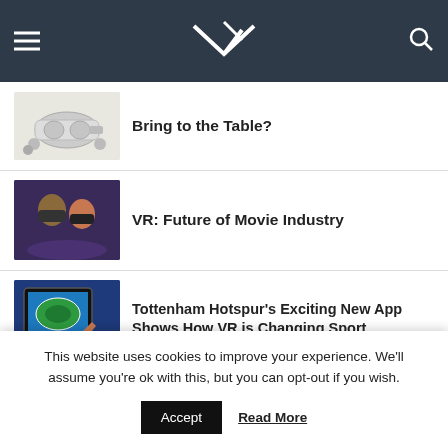VR (logo)
Bring to the Table?
VR: Future of Movie Industry
Tottenham Hotspur's Exciting New App Shows How VR is Changing Sport
Oculus Go: The Smartphone-VR Hybrid
This website uses cookies to improve your experience. We'll assume you're ok with this, but you can opt-out if you wish.
Accept
Read More